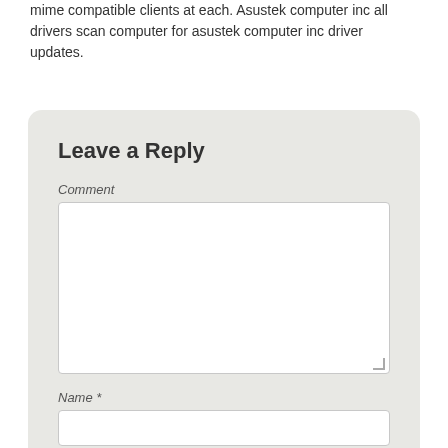mime compatible clients at each. Asustek computer inc all drivers scan computer for asustek computer inc driver updates.
Leave a Reply
Comment
Name *
Email *